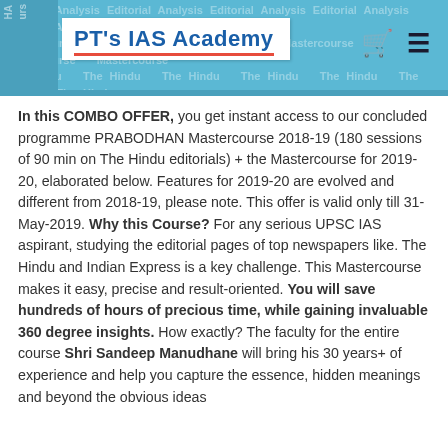PT's IAS Academy
In this COMBO OFFER, you get instant access to our concluded programme PRABODHAN Mastercourse 2018-19 (180 sessions of 90 min on The Hindu editorials) + the Mastercourse for 2019-20, elaborated below. Features for 2019-20 are evolved and different from 2018-19, please note. This offer is valid only till 31-May-2019. Why this Course? For any serious UPSC IAS aspirant, studying the editorial pages of top newspapers like. The Hindu and Indian Express is a key challenge. This Mastercourse makes it easy, precise and result-oriented. You will save hundreds of hours of precious time, while gaining invaluable 360 degree insights. How exactly? The faculty for the entire course Shri Sandeep Manudhane will bring his 30 years+ of experience and help you capture the essence, hidden meanings and beyond the obvious ideas